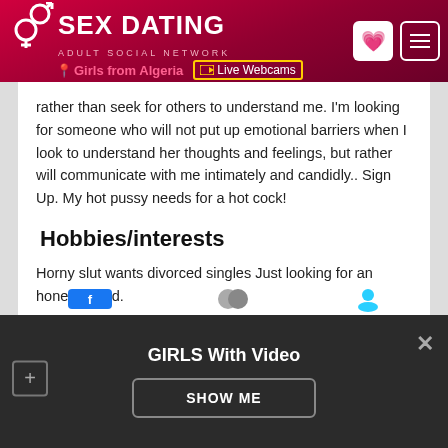SEX DATING ADULT SOCIAL NETWORK — Girls from Algeria | Live Webcams
rather than seek for others to understand me. I'm looking for someone who will not put up emotional barriers when I look to understand her thoughts and feelings, but rather will communicate with me intimately and candidly.. Sign Up. My hot pussy needs for a hot cock!
Hobbies/interests
Horny slut wants divorced singles Just looking for an honest friend.
GIRLS With Video — SHOW ME